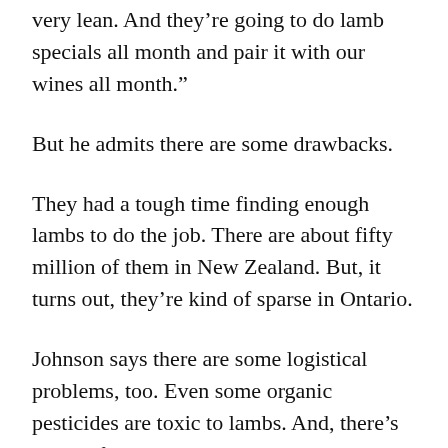very lean. And they’re going to do lamb specials all month and pair it with our wines all month.”
But he admits there are some drawbacks.
They had a tough time finding enough lambs to do the job. There are about fifty million of them in New Zealand. But, it turns out, they’re kind of sparse in Ontario.
Johnson says there are some logistical problems, too. Even some organic pesticides are toxic to lambs. And, there’s all that fence building and moving around to limit the lambs’ access, so they don’t over-prune.